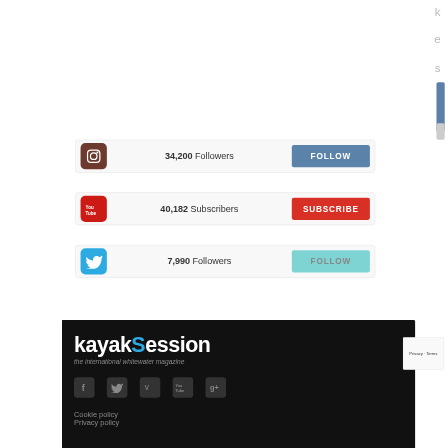[Figure (screenshot): Right edge of page showing letters k, e, s and a blue scroll bar]
34,200 Followers
FOLLOW
40,182 Subscribers
SUBSCRIBE
7,990 Followers
FOLLOW
[Figure (logo): Kayaksession logo - the international whitewater magazine - with social media icons (Facebook, Twitter, Vimeo, YouTube, Google+) on dark/black background]
Cookie policy
Privacy policy